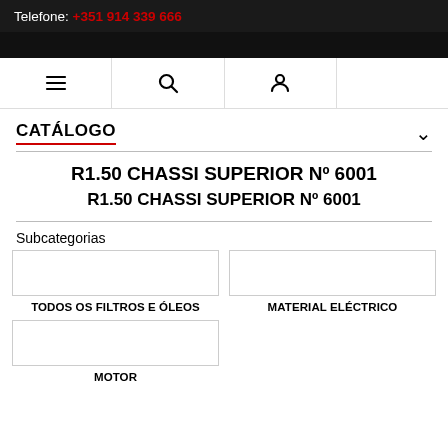Telefone: +351 914 339 666
CATÁLOGO
R1.50 CHASSI SUPERIOR Nº 6001
R1.50 CHASSI SUPERIOR Nº 6001
Subcategorias
TODOS OS FILTROS E ÓLEOS
MATERIAL ELÉCTRICO
MOTOR